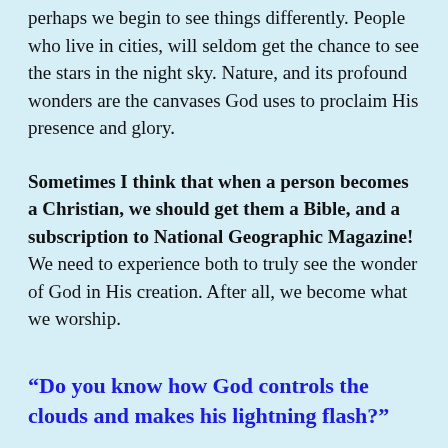perhaps we begin to see things differently. People who live in cities, will seldom get the chance to see the stars in the night sky. Nature, and its profound wonders are the canvases God uses to proclaim His presence and glory.
Sometimes I think that when a person becomes a Christian, we should get them a Bible, and a subscription to National Geographic Magazine! We need to experience both to truly see the wonder of God in His creation. After all, we become what we worship.
“Do you know how God controls the clouds and makes his lightning flash?”